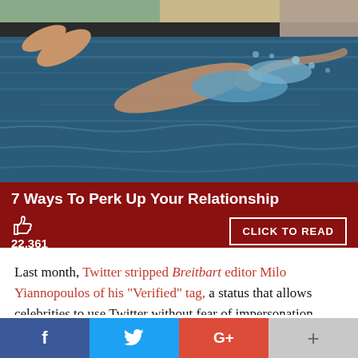[Figure (photo): Person swimming in a pool or infinity pool, aerial/side view showing legs and splashing water, taken from above]
7 Ways To Perk Up Your Relationship
22,361
CLICK TO READ
Last month, Twitter stripped Breitbart editor Milo Yiannopoulos of his "Verified" tag, a status that allows celebrities to use Twitter without fear of impersonation, which is unprecedented in the history of the site. Twitter's rationale for punishing Yiannopoulos was his supposed
f  [Twitter bird]  G+  +